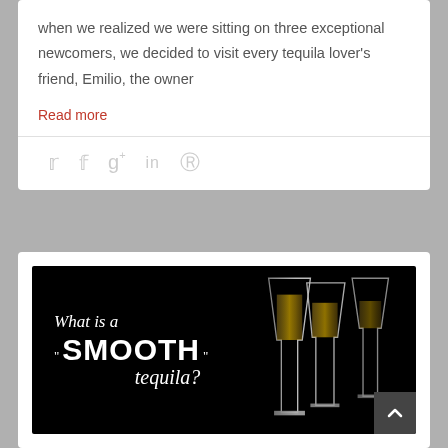when we realized we were sitting on three exceptional newcomers, we decided to visit every tequila lover's friend, Emilio, the owner
Read more
[Figure (infographic): Promotional image with black background showing three wine/tequila glasses filled with golden liquid on the right side, and text on the left reading: What is a "SMOOTH" tequila?]
What is a "SMOOTH" tequila?